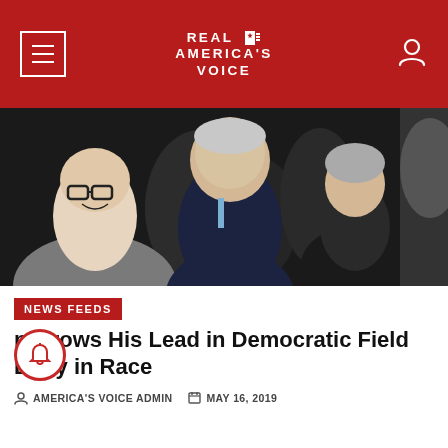REAL AMERICA'S VOICE
[Figure (photo): Group photo showing a politician (Joe Biden) smiling with supporters, a woman with glasses laughing on the left, an elderly woman smiling on the right, other people in the background]
NEWS FEEDS
Biden Grows His Lead in Democratic Field Early in Race
AMERICA'S VOICE ADMIN   MAY 16, 2019